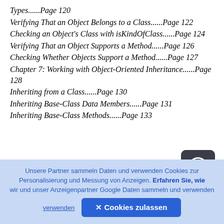Types......Page 120
Verifying That an Object Belongs to a Class......Page 122
Checking an Object's Class with isKindOfClass......Page 124
Verifying That an Object Supports a Method......Page 126
Checking Whether Objects Support a Method......Page 127
Chapter 7: Working with Object-Oriented Inheritance......Page 128
Inheriting from a Class......Page 130
Inheriting Base-Class Data Members......Page 131
Inheriting Base-Class Methods......Page 133
Unsere Partner sammeln Daten und verwenden Cookies zur Personalisierung und Messung von Anzeigen. Erfahren Sie, wie wir und unser Anzeigenpartner Google Daten sammeln und verwenden
verwenden   ✕ Cookies zulassen